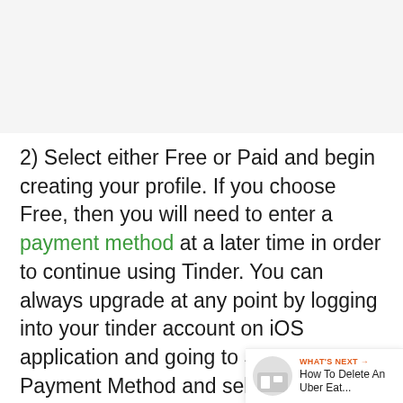[Figure (other): Gray advertisement/placeholder area at the top of the page]
2) Select either Free or Paid and begin creating your profile. If you choose Free, then you will need to enter a payment method at a later time in order to continue using Tinder. You can always upgrade at any point by logging into your tinder account on iOS application and going to Settings > Payment Method and selecting Upgrade from there.
If you are currently unable to purchase a